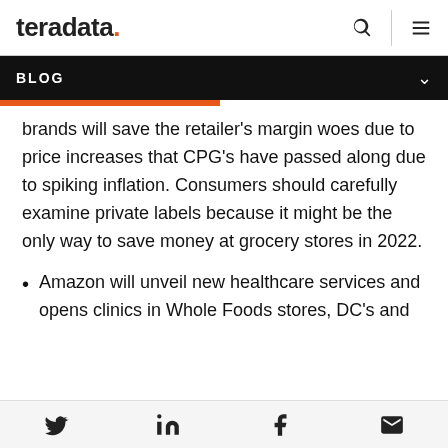[Figure (logo): Teradata logo with orange period]
BLOG
brands will save the retailer's margin woes due to price increases that CPG's have passed along due to spiking inflation. Consumers should carefully examine private labels because it might be the only way to save money at grocery stores in 2022.
Amazon will unveil new healthcare services and opens clinics in Whole Foods stores, DC's and
Twitter, LinkedIn, Facebook, Email social share icons